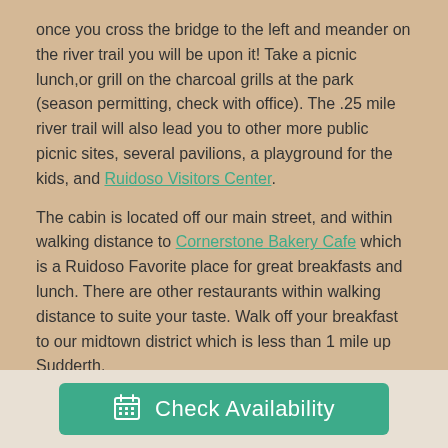once you cross the bridge to the left and meander on the river trail you will be upon it!  Take a picnic lunch,or grill on the charcoal grills at the park (season permitting, check with office). The .25 mile river trail will also lead you to other more public picnic sites, several pavilions, a playground for the kids, and Ruidoso Visitors Center.

The cabin is located off our main street, and within walking distance to Cornerstone Bakery Cafe which is a Ruidoso Favorite place for great breakfasts and lunch. There are other restaurants within walking distance to suite your taste. Walk off your breakfast to our midtown district which is less than 1 mile up Sudderth.
Check Availability